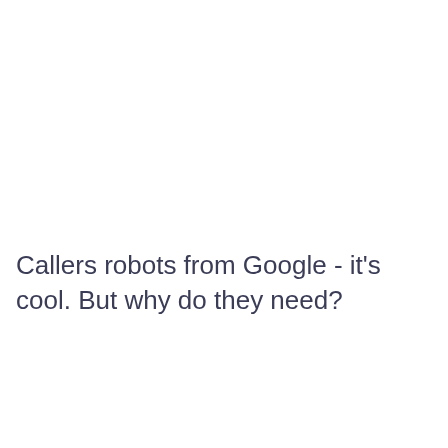Callers robots from Google - it's cool. But why do they need?